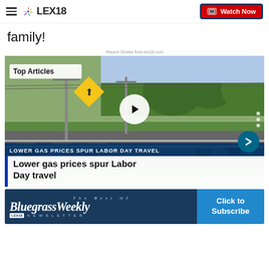LEX18 — Watch Now
family!
Recent Stories from lex18.com
[Figure (screenshot): Highway video thumbnail showing Top Articles badge, play button, arrow button, ticker reading LOWER GAS PRICES SPUR LABOR DAY TRAVEL, and title Lower gas prices spur Labor Day travel]
[Figure (infographic): Bluegrass Weekly newsletter advertisement banner with Click to Subscribe button]